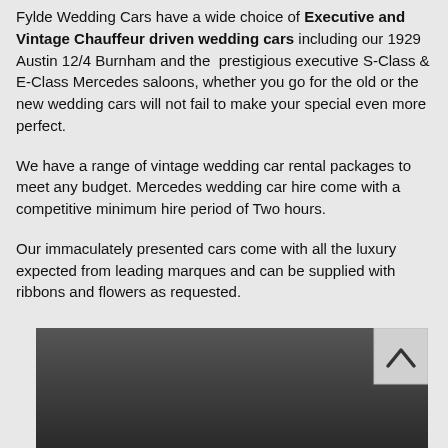Fylde Wedding Cars have a wide choice of Executive and Vintage Chauffeur driven wedding cars including our 1929 Austin 12/4 Burnham and the prestigious executive S-Class & E-Class Mercedes saloons, whether you go for the old or the new wedding cars will not fail to make your special even more perfect.
We have a range of vintage wedding car rental packages to meet any budget. Mercedes wedding car hire come with a competitive minimum hire period of Two hours.
Our immaculately presented cars come with all the luxury expected from leading marques and can be supplied with ribbons and flowers as requested.
[Figure (photo): Dark grey/charcoal gradient image, partially visible at bottom of page, with a scroll-up button (chevron/caret symbol) overlaid in the upper-right area of the image.]